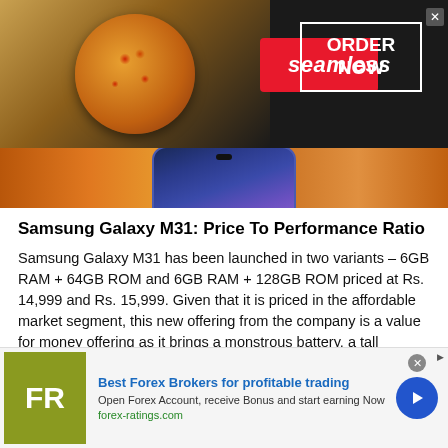[Figure (screenshot): Seamless food ordering advertisement banner with pizza image, red Seamless logo badge, and ORDER NOW button in white border on dark background]
[Figure (photo): Partial phone image showing blue-purple Samsung Galaxy M31 device on orange background]
Samsung Galaxy M31: Price To Performance Ratio
Samsung Galaxy M31 has been launched in two variants – 6GB RAM + 64GB ROM and 6GB RAM + 128GB ROM priced at Rs. 14,999 and Rs. 15,999. Given that it is priced in the affordable market segment, this new offering from the company is a value for money offering as it brings a monstrous battery, a tall display, a quad-camera setup with a 64MP sensor, and many other goodies.
[Figure (screenshot): Forex Ratings advertisement banner with FR logo, Best Forex Brokers for profitable trading headline, subtext about opening forex account, and blue arrow button]